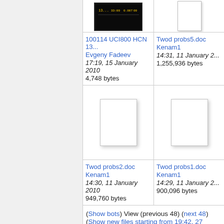[Figure (screenshot): Thumbnail of UCI800 HCN file showing dark screen with data readout]
[Figure (photo): Partial white document thumbnail for Twod probs5.doc]
100114 UCI800 HCN 13...
Evgeny Fadeev
17:19, 15 January 2010
4,748 bytes
Twod probs5.doc
Kenam1
14:31, 11 January 2...
1,255,936 bytes
[Figure (photo): White blank document thumbnail for Twod probs2.doc]
[Figure (photo): Partial white document thumbnail for Twod probs1.doc]
Twod probs2.doc
Kenam1
14:30, 11 January 2010
949,760 bytes
Twod probs1.doc
Kenam1
14:29, 11 January 2...
900,096 bytes
(Show bots) View (previous 48) (next 48) (Show new files starting from 19:42, 27 August 2022)